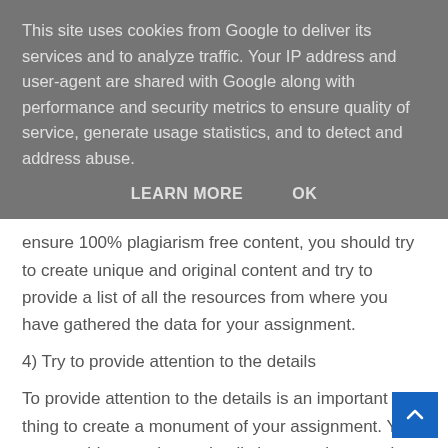This site uses cookies from Google to deliver its services and to analyze traffic. Your IP address and user-agent are shared with Google along with performance and security metrics to ensure quality of service, generate usage statistics, and to detect and address abuse.
LEARN MORE    OK
ensure 100% plagiarism free content, you should try to create unique and original content and try to provide a list of all the resources from where you have gathered the data for your assignment.
4) Try to provide attention to the details
To provide attention to the details is an important thing to create a monument of your assignment. You can provide attention to details in an assignment by checking for